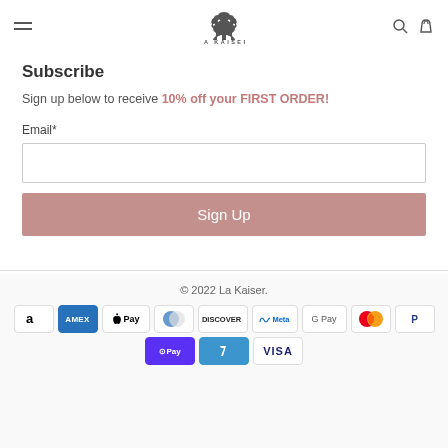[Figure (logo): La Kaiser lion logo with text LA KAISER below]
Subscribe
Sign up below to receive 10% off your FIRST ORDER!
Email*
Sign Up (button)
© 2022 La Kaiser.
[Figure (other): Payment method icons: Amazon, Amex, Apple Pay, Diners Club, Discover, Meta Pay, Google Pay, Mastercard, PayPal, Shop Pay, Venmo, Visa]